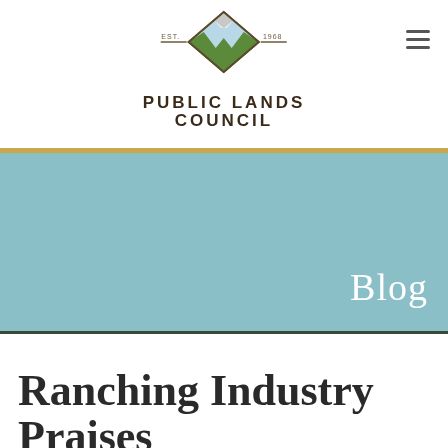[Figure (logo): Public Lands Council logo — diamond shape with mountain and green hills, EST. 1968, with organization name PUBLIC LANDS COUNCIL below in bold dark brown text]
Blog
Ranching Industry Praises